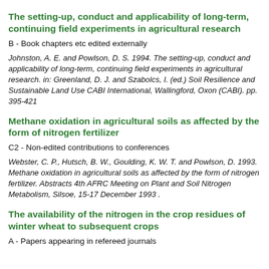The setting-up, conduct and applicability of long-term, continuing field experiments in agricultural research
B - Book chapters etc edited externally
Johnston, A. E. and Powlson, D. S. 1994. The setting-up, conduct and applicability of long-term, continuing field experiments in agricultural research. in: Greenland, D. J. and Szabolcs, I. (ed.) Soil Resilience and Sustainable Land Use CABI International, Wallingford, Oxon (CABI). pp. 395-421
Methane oxidation in agricultural soils as affected by the form of nitrogen fertilizer
C2 - Non-edited contributions to conferences
Webster, C. P., Hutsch, B. W., Goulding, K. W. T. and Powlson, D. 1993. Methane oxidation in agricultural soils as affected by the form of nitrogen fertilizer. Abstracts 4th AFRC Meeting on Plant and Soil Nitrogen Metabolism, Silsoe, 15-17 December 1993 .
The availability of the nitrogen in the crop residues of winter wheat to subsequent crops
A - Papers appearing in refereed journals